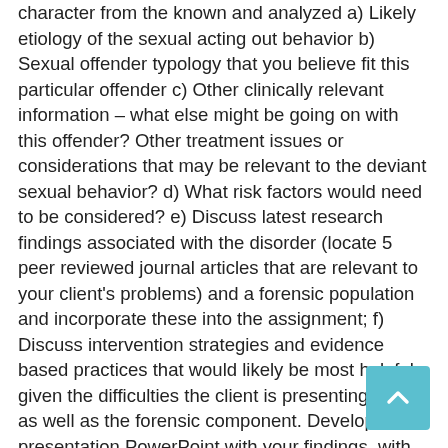character from the known and analyzed a) Likely etiology of the sexual acting out behavior b) Sexual offender typology that you believe fit this particular offender c) Other clinically relevant information – what else might be going on with this offender? Other treatment issues or considerations that may be relevant to the deviant sexual behavior? d) What risk factors would need to be considered? e) Discuss latest research findings associated with the disorder (locate 5 peer reviewed journal articles that are relevant to your client's problems) and a forensic population and incorporate these into the assignment; f) Discuss intervention strategies and evidence based practices that would likely be most helpful given the difficulties the client is presenting with as well as the forensic component. Develop a presentation PowerPoint with your findings, with notes on the slides.Goal of presentation: Demonstrate an in-depth understanding of sexual offending across the developmental lifespan. · Select screening and intervention practices appropriate for clients with a history of sexually offending. · Identify risk and protective factors associated with sexual offending. · Interpret the role of co-occurring disorders and cognitive impairments in sexually offending. · Examine the impact of